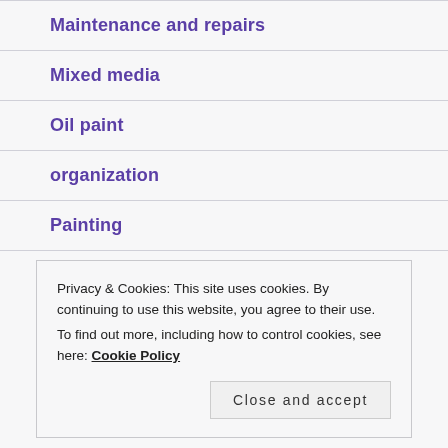Maintenance and repairs
Mixed media
Oil paint
organization
Painting
Privacy & Cookies: This site uses cookies. By continuing to use this website, you agree to their use.
To find out more, including how to control cookies, see here: Cookie Policy